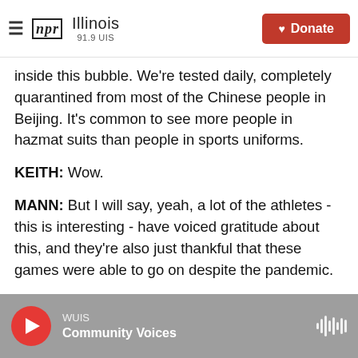NPR Illinois 91.9 UIS | Donate
inside this bubble. We're tested daily, completely quarantined from most of the Chinese people in Beijing. It's common to see more people in hazmat suits than people in sports uniforms.
KEITH: Wow.
MANN: But I will say, yeah, a lot of the athletes - this is interesting - have voiced gratitude about this, and they're also just thankful that these games were able to go on despite the pandemic.
KEITH: Well, let's talk about the sports that are coming. What can we look forward to?
WUIS — Community Voices